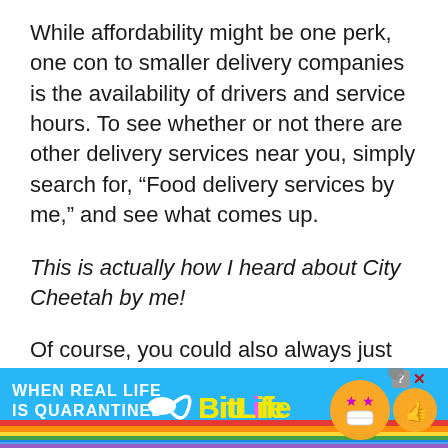While affordability might be one perk, one con to smaller delivery companies is the availability of drivers and service hours. To see whether or not there are other delivery services near you, simply search for, “Food delivery services by me,” and see what comes up.
This is actually how I heard about City Cheetah by me!
Of course, you could also always just have the restaurant themselves (Panera, Dominos, Pizza places, Chinese Food, and so on) just
[Figure (other): Advertisement banner for BitLife game. Blue background with rainbow gradient at bottom. Text reads 'WHEN REAL LIFE IS QUARANTINED' on left, sperm emoji graphic in center, 'BitLife' in yellow bold text, cartoon character with star eyes and face mask on right. Close/question mark buttons at top right.]